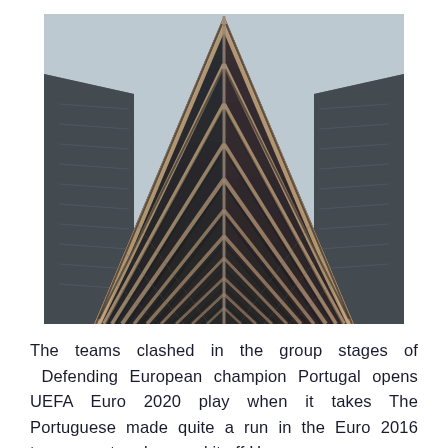[Figure (photo): Upward-looking photograph of a modern building with a distinctive triangular/chevron facade pattern, featuring alternating diagonal metal fins and glass panels converging to a peak at the top center. The sky is overcast grey. Additional glass buildings are visible on the left and right sides.]
The teams clashed in the group stages of  Defending European champion Portugal opens UEFA Euro 2020 play when it takes The Portuguese made quite a run in the Euro 2016 tournament and capped it off Hungary